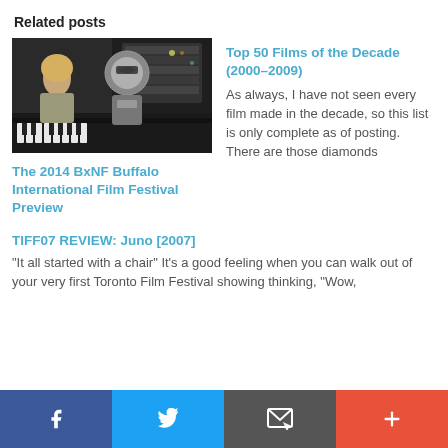Related posts
[Figure (photo): A scene from a film showing a woman and a robot at a keyboard/synthesizer in a studio setting.]
The 2014 BxNF Buffalo International Film Festival Preview
Top 50 Films of the Decade (2000–2009)
As always, I have not seen every film made in the decade, so this list is only complete as of posting. There are those diamonds
TIFF07 REVIEW: Juno [2007]
"It all started with a chair" It's a good feeling when you can walk out of your very first Toronto Film Festival showing thinking, "Wow,